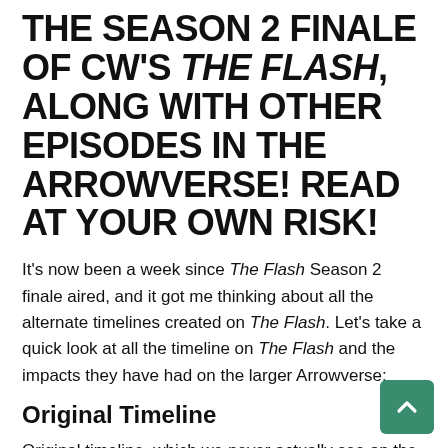THE SEASON 2 FINALE OF CW'S THE FLASH, ALONG WITH OTHER EPISODES IN THE ARROWVERSE! READ AT YOUR OWN RISK!
It's now been a week since The Flash Season 2 finale aired, and it got me thinking about all the alternate timelines created on The Flash. Let's take a quick look at all the timeline on The Flash and the impacts they have had on the larger Arrowverse:
Original Timeline
Original timeline, which we never actually see on the show. In this timeline, Barry Allen and Iris West are married. Barry Allen is given the powers of The Flash by the activation of the STAR Labs particle accelerator in